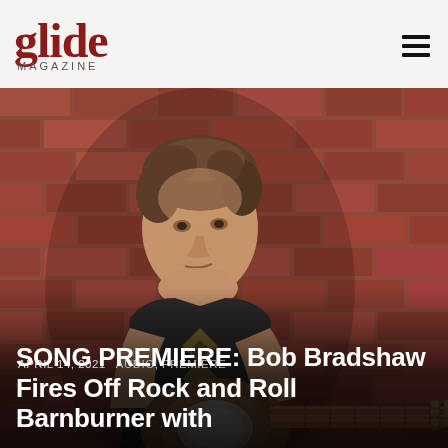glide MAGAZINE
[Figure (photo): A middle-aged man with tousled hair sits against a red brick wall, looking to his right, wearing a dark short-sleeved shirt with diamond pattern, holding a resonator guitar across his body.]
APRIL 14, 2021   AUDIO, PREMIERE
SONG PREMIERE: Bob Bradshaw Fires Off Rock and Roll Barnburner with